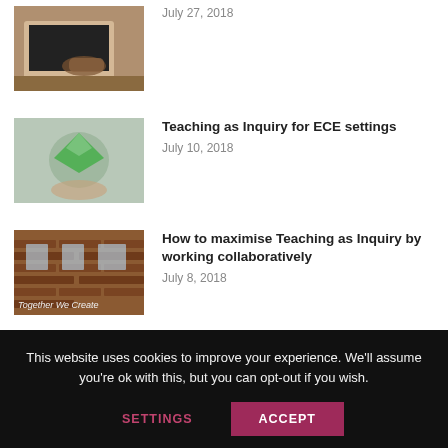[Figure (photo): Hands writing in a notebook on a wooden desk]
July 27, 2018
[Figure (photo): Hand holding a green paper bird or leaf shape]
Teaching as Inquiry for ECE settings
July 10, 2018
[Figure (photo): Brick wall with text 'Together We Create']
How to maximise Teaching as Inquiry by working collaboratively
July 8, 2018
This website uses cookies to improve your experience. We'll assume you're ok with this, but you can opt-out if you wish.
SETTINGS
ACCEPT